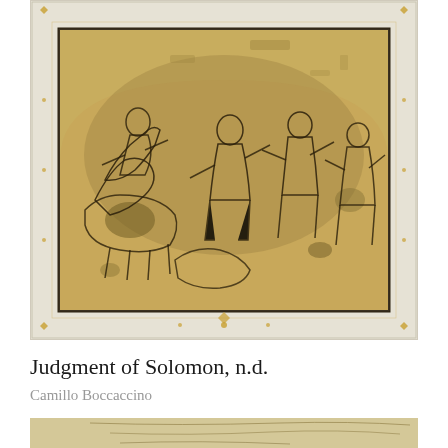[Figure (photo): Framed artwork showing 'Judgment of Solomon' — an aged drawing or painting on yellowish-tan paper/panel depicting multiple figures in a classical scene. The ornate frame is white/cream with gold decorative elements at corners and along borders. The interior scene shows several figures including a seated authority figure and others in dynamic poses, rendered in sketchy brown/black lines on the warm ground.]
Judgment of Solomon, n.d.
Camillo Boccaccino
[Figure (photo): Partial view of a second artwork — only the top portion visible, showing what appears to be another aged drawing on cream/tan paper with sketched figures.]